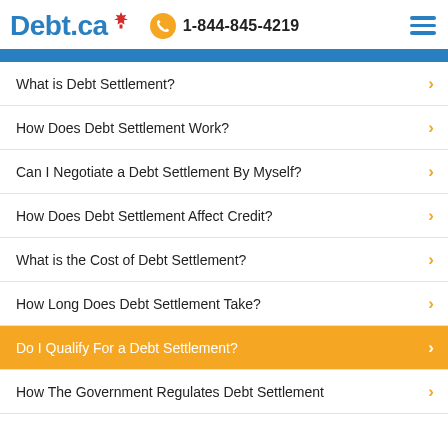Debt.ca | 1-844-845-4219
What is Debt Settlement?
How Does Debt Settlement Work?
Can I Negotiate a Debt Settlement By Myself?
How Does Debt Settlement Affect Credit?
What is the Cost of Debt Settlement?
How Long Does Debt Settlement Take?
Do I Qualify For a Debt Settlement?
How The Government Regulates Debt Settlement